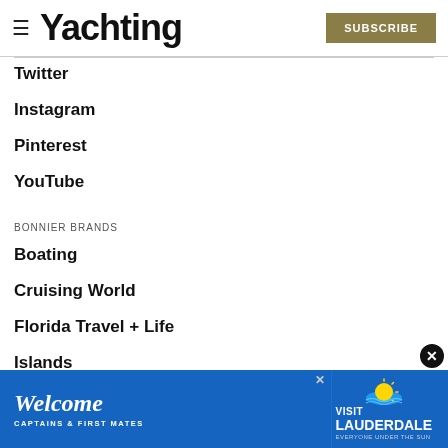≡ Yachting | SUBSCRIBE
Twitter
Instagram
Pinterest
YouTube
BONNIER BRANDS
Boating
Cruising World
Florida Travel + Life
Islands
Marlin
Sailing
Salt Water Sportsman
[Figure (infographic): Advertisement banner: Welcome Captains & First Mates / Visit Lauderdale Everyone Under the Sun]